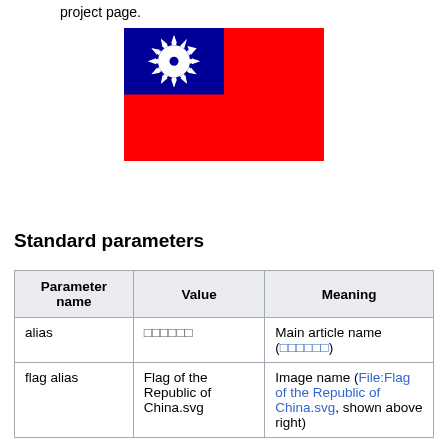project page.
[Figure (illustration): Flag of the Republic of China (Taiwan) — red field with a blue canton containing a white sun with 12 triangular rays]
Standard parameters
| Parameter name | Value | Meaning |
| --- | --- | --- |
| alias | □□□□□□ | Main article name (□□□□□□) |
| flag alias | Flag of the Republic of China.svg | Image name (File:Flag of the Republic of China.svg, shown above right) |